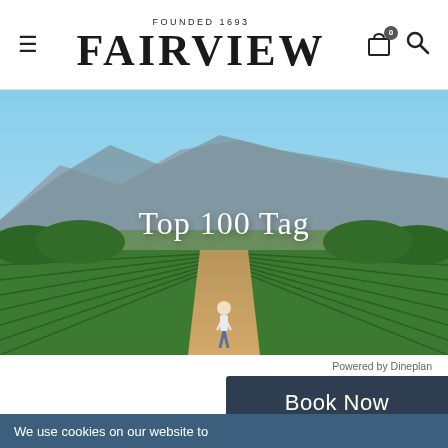FOUNDED 1693 FAIRVIEW
[Figure (photo): Aerial view of vineyard rows converging to a vanishing point with mountains and blue sky in background; a person walking along a dirt path between vines]
Top 100 Tag
Powered by Dineplan
Book Now
We use cookies on our website to